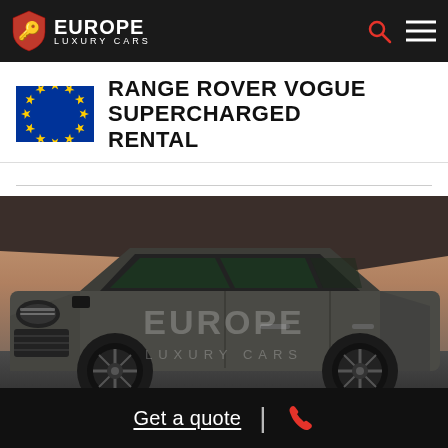EUROPE LUXURY CARS
RANGE ROVER VOGUE SUPERCHARGED RENTAL
[Figure (photo): Matte grey Range Rover Vogue Supercharged parked in a car park with a watermark 'EUROPE LUXURY CARS' overlaid on the image]
Get a quote